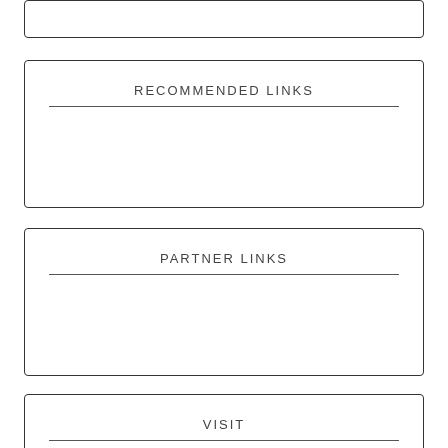RECOMMENDED LINKS
PARTNER LINKS
VISIT
Travelling